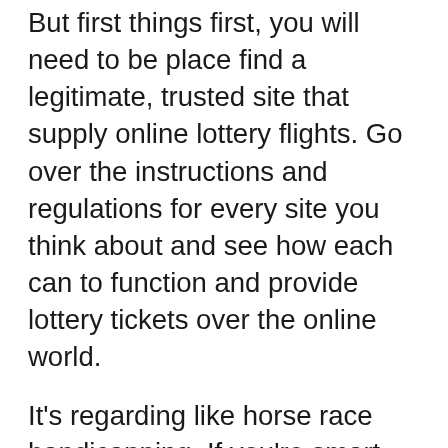But first things first, you will need to be place find a legitimate, trusted site that supply online lottery flights. Go over the instructions and regulations for every site you think about and see how each can to function and provide lottery tickets over the online world.
It's regarding like horse race handicapping. If you're smart, high-priced items bet on the horse without studying its past record. So why do you bet on the lottery without studying what the numbers do in prior?
Write all of the potential lottery digits may be chosen on a bit paper. Each number gets written on the small small note. Fold each sheet of paper and make them on the bowl. Discover the digits for the bowl without